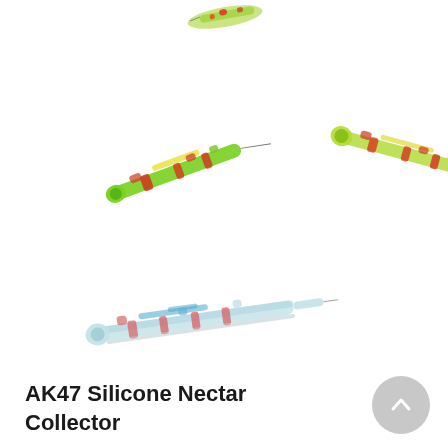[Figure (photo): Three colorful AK47 Silicone Nectar Collector products shown from different angles on white background. Top: partially cropped item. Middle left: green/red/yellow nectar collector pipe. Middle right: similar item in slightly different angle. Bottom: light blue/white/red version laid flat.]
AK47 Silicone Nectar Collector